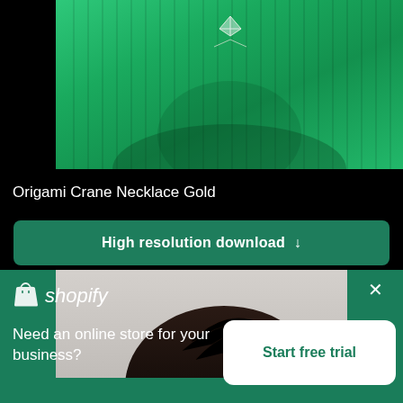[Figure (photo): Close-up photo of a person wearing a green ribbed turtleneck sweater with an origami crane necklace visible at the neckline]
Origami Crane Necklace Gold
High resolution download ↓
[Figure (photo): Top portion of a person's head with dark hair against a gray/white background]
[Figure (logo): Shopify logo with shopping bag icon and italic shopify text in white]
Need an online store for your business?
Start free trial